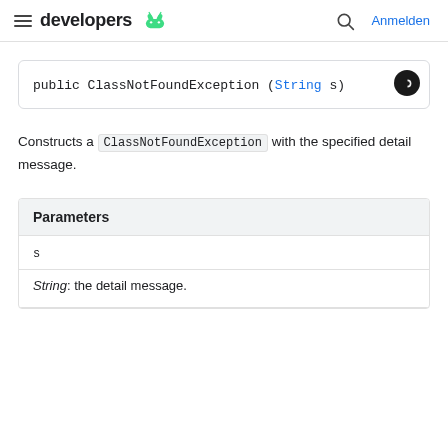developers  Anmelden
public ClassNotFoundException (String s)
Constructs a ClassNotFoundException with the specified detail message.
| Parameters |
| --- |
| s |
| String: the detail message. |